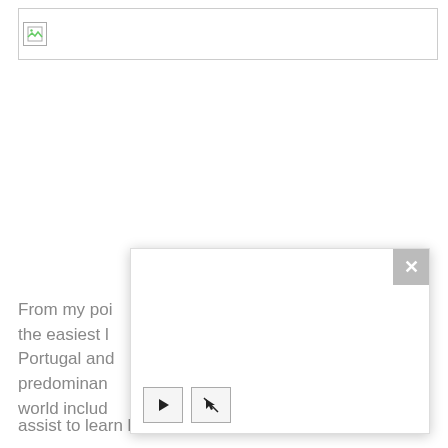[Figure (other): Broken image placeholder — a rectangular bordered area with a broken image icon in the top-left corner, spanning most of the page width]
From my poi the easiest l Portugal and predominan world includ assist to learn because of grammatical
[Figure (screenshot): A popup/modal overlay with a white content area, a gray X close button in the top-right corner, and two control buttons (play and a pointer/cursor button) at the bottom-left]